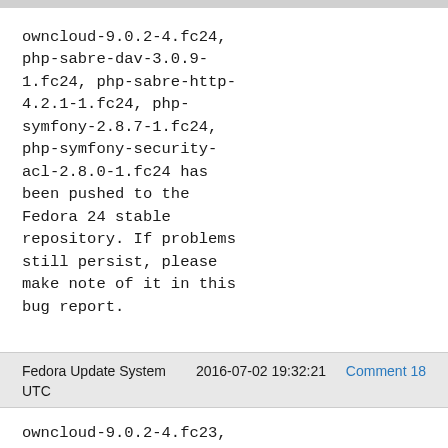owncloud-9.0.2-4.fc24, php-sabre-dav-3.0.9-1.fc24, php-sabre-http-4.2.1-1.fc24, php-symfony-2.8.7-1.fc24, php-symfony-security-acl-2.8.0-1.fc24 has been pushed to the Fedora 24 stable repository. If problems still persist, please make note of it in this bug report.
Fedora Update System   2016-07-02 19:32:21   Comment 18 UTC
owncloud-9.0.2-4.fc23, php-mcnetic-zipstreamer-1.0-1.fc23, php-sabre-dav-3.0.9-1.fc23, php-sabre-http-4.2.1-1.fc23, php-symfony-2.8.7-1.fc23, php-symfony-